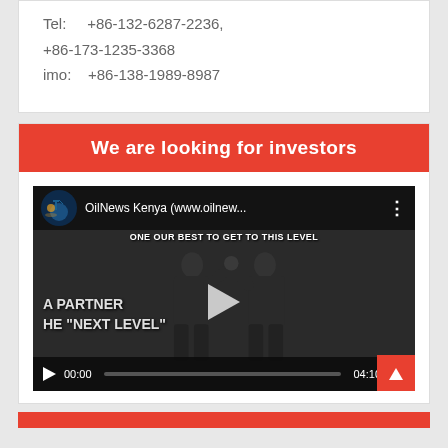Tel:    +86-132-6287-2236,
+86-173-1235-3368
imo:    +86-138-1989-8987
We are looking for investors
[Figure (screenshot): YouTube video player screenshot showing OilNews Kenya channel video with two businessmen shaking hands/high-fiving. Video is paused at 00:00 with total duration 04:10. Overlay text reads 'A PARTNER' and 'HE "NEXT LEVEL"'. Top text reads 'ONE OUR BEST TO GET TO THIS LEVEL']